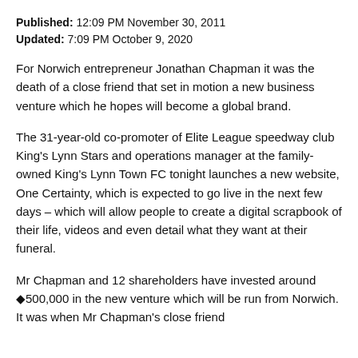Published: 12:09 PM November 30, 2011
Updated: 7:09 PM October 9, 2020
For Norwich entrepreneur Jonathan Chapman it was the death of a close friend that set in motion a new business venture which he hopes will become a global brand.
The 31-year-old co-promoter of Elite League speedway club King's Lynn Stars and operations manager at the family-owned King's Lynn Town FC tonight launches a new website, One Certainty, which is expected to go live in the next few days – which will allow people to create a digital scrapbook of their life, videos and even detail what they want at their funeral.
Mr Chapman and 12 shareholders have invested around ◆500,000 in the new venture which will be run from Norwich. It was when Mr Chapman's close friend